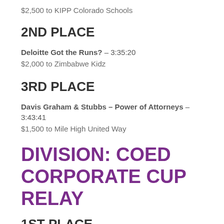$2,500 to KIPP Colorado Schools
2ND PLACE
Deloitte Got the Runs? – 3:35:20
$2,000 to Zimbabwe Kidz
3RD PLACE
Davis Graham & Stubbs – Power of Attorneys – 3:43:41
$1,500 to Mile High United Way
DIVISION: COED CORPORATE CUP RELAY
1ST PLACE